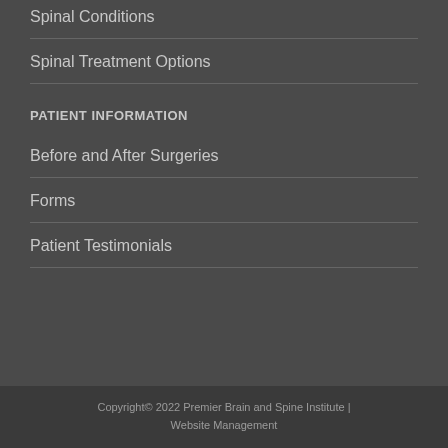Spinal Conditions
Spinal Treatment Options
PATIENT INFORMATION
Before and After Surgeries
Forms
Patient Testimonials
Copyright© 2022 Premier Brain and Spine Institute | Website Management